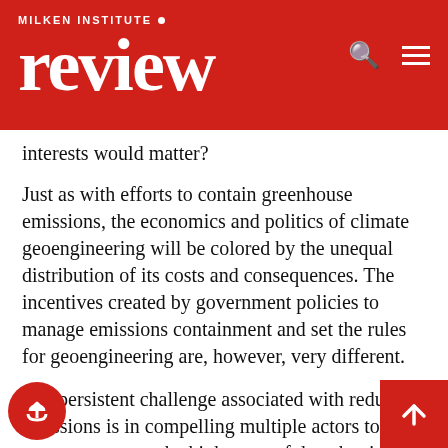MILKEN INSTITUTE review
interests would matter?
Just as with efforts to contain greenhouse emissions, the economics and politics of climate geoengineering will be colored by the unequal distribution of its costs and consequences. The incentives created by government policies to manage emissions containment and set the rules for geoengineering are, however, very different.
The persistent challenge associated with reducing emissions is in compelling multiple actors to cooperate to pay the high costs of decarbonization for the diffuse benefit of many. SRM has the opposite problem, wherein its potentially very low direct costs may create incentives to exclude some stakeholders from the decision-making. Even if we